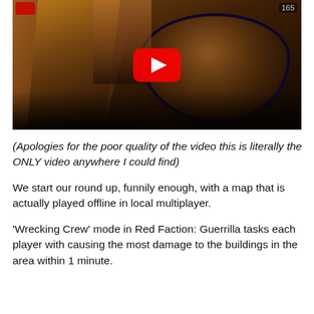[Figure (screenshot): A YouTube video thumbnail showing a top-down aerial view of a game scene from Red Faction: Guerrilla with a red YouTube play button overlay in the center. A timer showing '165' is visible in the top right corner.]
(Apologies for the poor quality of the video this is literally the ONLY video anywhere I could find)
We start our round up, funnily enough, with a map that is actually played offline in local multiplayer.
'Wrecking Crew' mode in Red Faction: Guerrilla tasks each player with causing the most damage to the buildings in the area within 1 minute.